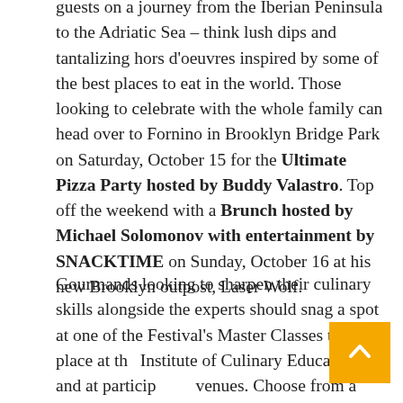guests on a journey from the Iberian Peninsula to the Adriatic Sea – think lush dips and tantalizing hors d'oeuvres inspired by some of the best places to eat in the world. Those looking to celebrate with the whole family can head over to Fornino in Brooklyn Bridge Park on Saturday, October 15 for the Ultimate Pizza Party hosted by Buddy Valastro. Top off the weekend with a Brunch hosted by Michael Solomonov with entertainment by SNACKTIME on Sunday, October 16 at his new Brooklyn outpost, Laser Wolf.
Gourmands looking to sharpen their culinary skills alongside the experts should snag a spot at one of the Festival's Master Classes taking place at the Institute of Culinary Education and at participating venues. Choose from a variety of classes and gain